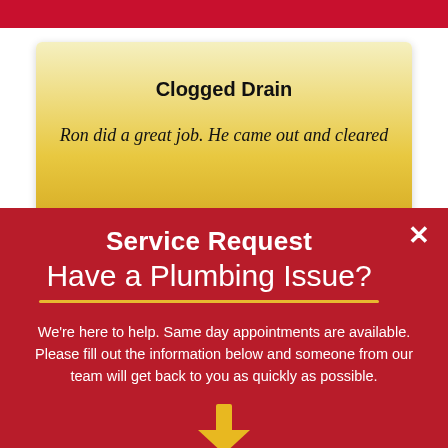[Figure (other): Red horizontal bar at top of page]
Clogged Drain
Ron did a great job. He came out and cleared
Service Request
Have a Plumbing Issue?
We're here to help. Same day appointments are available. Please fill out the information below and someone from our team will get back to you as quickly as possible.
[Figure (other): Gold downward arrow icon]